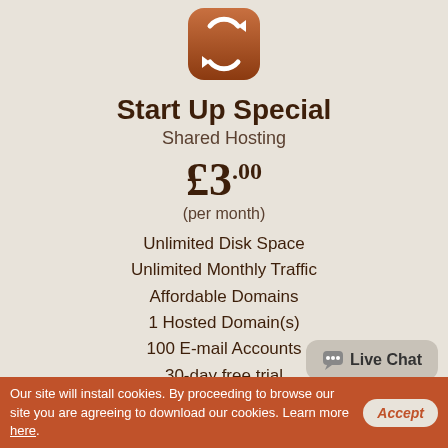[Figure (logo): Bronze/copper rounded square icon with white circular arrows refresh symbol]
Start Up Special
Shared Hosting
£3.00
(per month)
Unlimited Disk Space
Unlimited Monthly Traffic
Affordable Domains
1 Hosted Domain(s)
100 E-mail Accounts
30-day free trial
Full plan details
Start Free Trial
Live Chat
Our site will install cookies. By proceeding to browse our site you are agreeing to download our cookies. Learn more here.